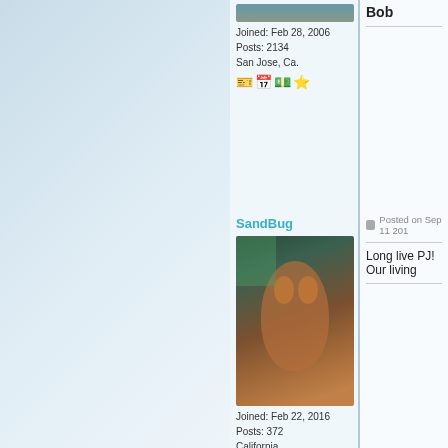Joined: Feb 28, 2006
Posts: 2134
San Jose, Ca.
Bob
SandBug
Posted on Sep 11 201...
Joined: Feb 22, 2016
Posts: 372
California
Long live PJ! Our living...
bigtikidude
Posted on Sep 12 201...
[Figure (screenshot): Forum post screenshot showing user profiles with avatars, join dates, post counts, locations, and badges]
[Figure (photo): African tribal mask sculpture in a museum]
[Figure (photo): Meme image with bearded man, text NEEDS MORE... REVERB!!!]